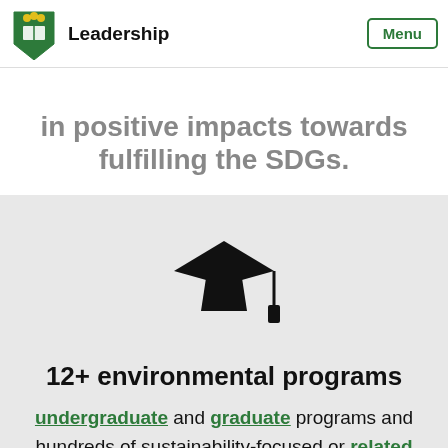Leadership | Menu
in positive impacts towards fulfilling the SDGs.
[Figure (illustration): Black graduation cap icon with tassel]
12+ environmental programs
undergraduate and graduate programs and hundreds of sustainability-focused or related courses.